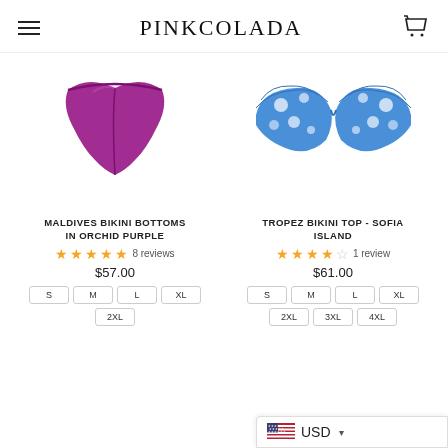PINKCOLADA
[Figure (illustration): Purple/orchid colored bikini bottom swimsuit item]
[Figure (illustration): Blue and white floral print bikini top (Sofia Island pattern)]
MALDIVES BIKINI BOTTOMS IN ORCHID PURPLE
★★★★★ 8 reviews
$57.00
S  M  L  XL  2XL
TROPEZ BIKINI TOP - SOFIA ISLAND
★★★☆☆ 1 review
$61.00
S  M  L  XL  2XL  3XL  4XL
USD